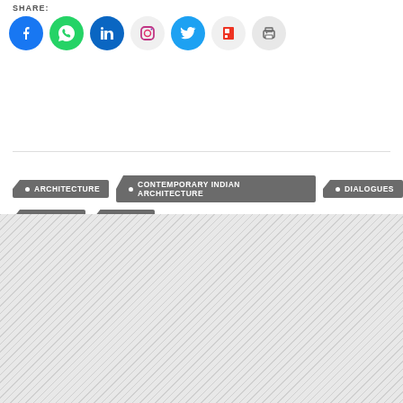SHARE:
[Figure (other): Social media sharing icons: Facebook, WhatsApp, LinkedIn, Instagram, Twitter, Flipboard, Print]
ARCHITECTURE
CONTEMPORARY INDIAN ARCHITECTURE
DIALOGUES
PRACTICE
PRAXIS
[Figure (other): Diagonal striped pattern area filling the bottom portion of the page]